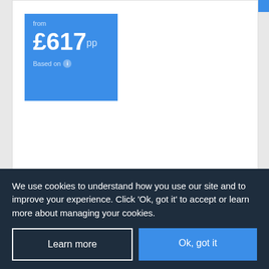[Figure (screenshot): Price box showing 'from £617pp Based on' on a blue background]
Long Beach Club Nature
Akbuk, Bodrum Area
[Figure (other): Four blue star rating icons and TripAdvisor rating with green bubbles]
We use cookies to understand how you use our site and to improve your experience. Click 'Ok, got it' to accept or learn more about managing your cookies.
Learn more
Ok, got it